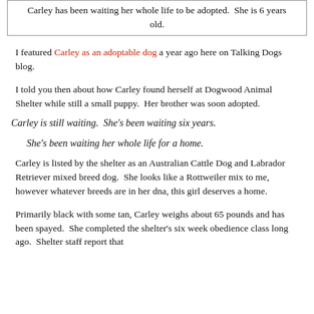Carley has been waiting her whole life to be adopted. She is 6 years old.
I featured Carley as an adoptable dog a year ago here on Talking Dogs blog.
I told you then about how Carley found herself at Dogwood Animal Shelter while still a small puppy. Her brother was soon adopted.
Carley is still waiting. She's been waiting six years.
She's been waiting her whole life for a home.
Carley is listed by the shelter as an Australian Cattle Dog and Labrador Retriever mixed breed dog. She looks like a Rottweiler mix to me, however whatever breeds are in her dna, this girl deserves a home.
Primarily black with some tan, Carley weighs about 65 pounds and has been spayed. She completed the shelter's six week obedience class long ago. Shelter staff report that